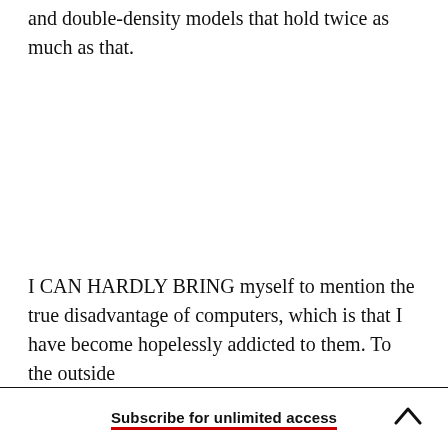and double-density models that hold twice as much as that.
I CAN HARDLY BRING myself to mention the true disadvantage of computers, which is that I have become hopelessly addicted to them. To the outside
Subscribe for unlimited access